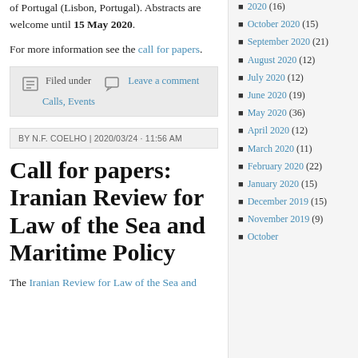of Portugal (Lisbon, Portugal). Abstracts are welcome until 15 May 2020.
For more information see the call for papers.
Filed under | Leave a comment Calls, Events
BY N.F. COELHO | 2020/03/24 · 11:56 AM
Call for papers: Iranian Review for Law of the Sea and Maritime Policy
The Iranian Review for Law of the Sea and
2020 (16)
October 2020 (15)
September 2020 (21)
August 2020 (12)
July 2020 (12)
June 2020 (19)
May 2020 (36)
April 2020 (12)
March 2020 (11)
February 2020 (22)
January 2020 (15)
December 2019 (15)
November 2019 (9)
October